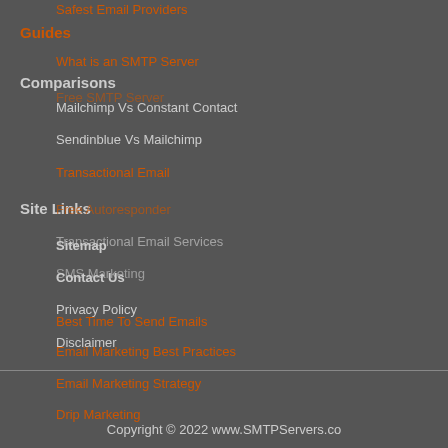Safest Email Providers
Guides
What is an SMTP Server
Comparisons
Free SMTP Server
Mailchimp Vs Constant Contact
Sendinblue Vs Mailchimp
Transactional Email
Free Autoresponder
Transactional Email Services
SMS Marketing
Best Time To Send Emails
Email Marketing Best Practices
Email Marketing Strategy
Drip Marketing
Site Links
Sitemap
Contact Us
Privacy Policy
Disclaimer
Copyright © 2022 www.SMTPServers.co